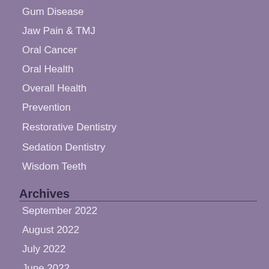Gum Disease
Jaw Pain & TMJ
Oral Cancer
Oral Health
Overall Health
Prevention
Restorative Dentistry
Sedation Dentistry
Wisdom Teeth
Archives
September 2022
August 2022
July 2022
June 2022
May 2022
April 2022
March 2022
February 2022